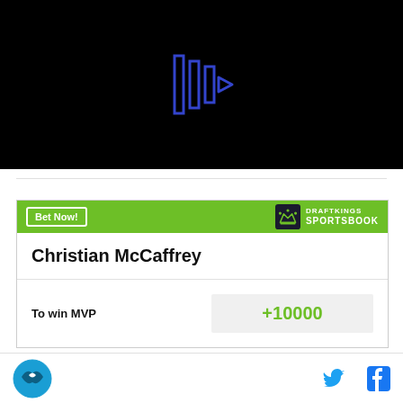[Figure (other): Black video player area with blue outlined play button icon in the center]
[Figure (infographic): DraftKings Sportsbook betting widget. Green header with 'Bet Now!' button and DraftKings Sportsbook logo. Player name: Christian McCaffrey. Bet type: To win MVP, odds: +10000]
[Figure (logo): Site logo (dark circular logo with bird) on the left, Twitter and Facebook icons on the right]